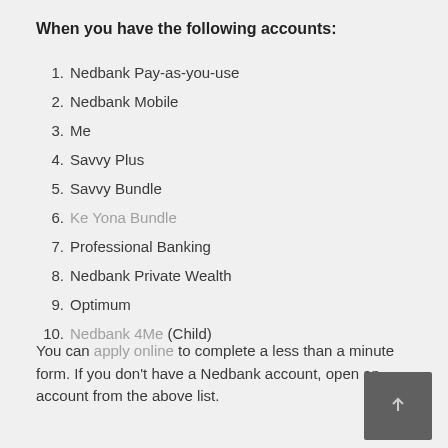When you have the following accounts:
Nedbank Pay-as-you-use
Nedbank Mobile
Me
Savvy Plus
Savvy Bundle
Ke Yona Bundle
Professional Banking
Nedbank Private Wealth
Optimum
Nedbank 4Me (Child)
You can apply online to complete a less than a minute form. If you don't have a Nedbank account, open an account from the above list.